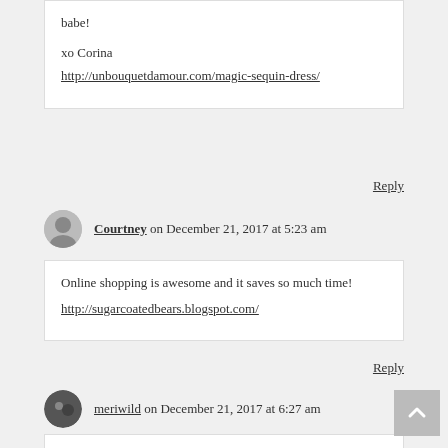babe!

xo Corina
http://unbouquetdamour.com/magic-sequin-dress/
Reply
Courtney on December 21, 2017 at 5:23 am
Online shopping is awesome and it saves so much time!
http://sugarcoatedbears.blogspot.com/
Reply
meriwild on December 21, 2017 at 6:27 am
Great ideas and beautiful photos. <3 You look amazing!